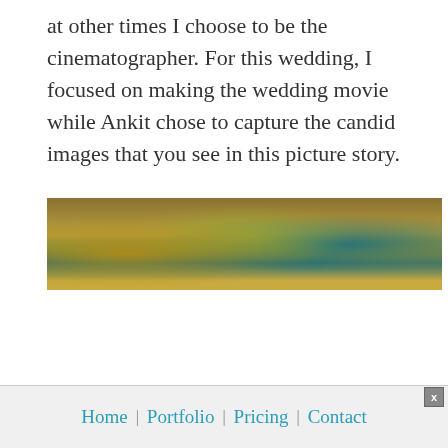at other times I choose to be the cinematographer. For this wedding, I focused on making the wedding movie while Ankit chose to capture the candid images that you see in this picture story.
[Figure (photo): A wide horizontal photograph showing people in traditional Indian wedding attire — yellow/gold saree fabric on the left, green/olive in the center, and teal/blue fabric with gold embroidery on the right.]
Home | Portfolio | Pricing | Contact